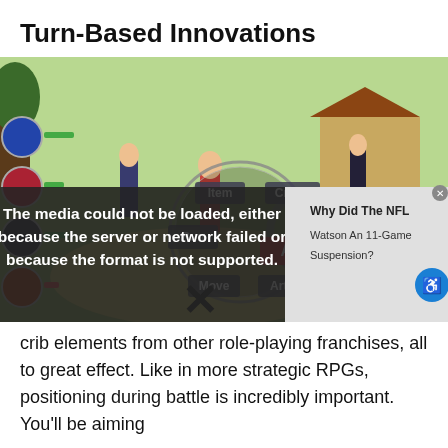Turn-Based Innovations
[Figure (screenshot): A turn-based RPG game screenshot showing anime-style characters in a field with a radial battle menu displaying options: Item, Crafts, Run, Attack, Move, Arts. A media error overlay reads 'The media could not be loaded, either because the server or network failed or because the format is not supported.' with an X mark. An ad overlay shows 'Why Did The NFL' / 'Watson An 11-Game' / 'Suspension?']
crib elements from other role-playing franchises, all to great effect. Like in more strategic RPGs, positioning during battle is incredibly important. You'll be aiming